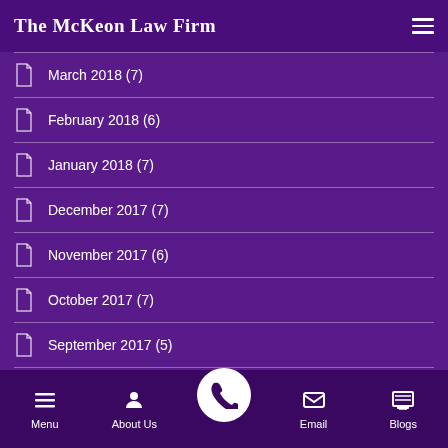The McKeon Law Firm
March 2018 (7)
February 2018 (6)
January 2018 (7)
December 2017 (7)
November 2017 (6)
October 2017 (7)
September 2017 (5)
August 2017 (8)
July 2017 (5)
Menu | About Us | (phone) | Email | Blogs